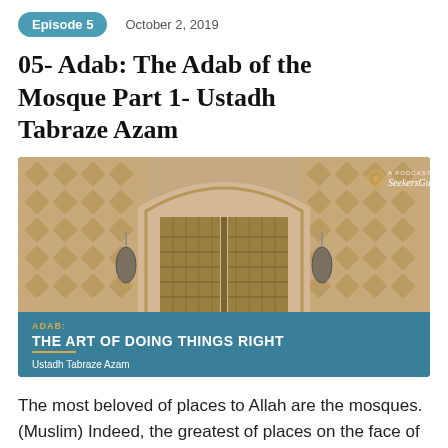Episode 5    October 2, 2019
05- Adab: The Adab of the Mosque Part 1- Ustadh Tabraze Azam
[Figure (photo): Podcast cover image showing ornate mosque doors with Islamic geometric patterns carved in stone. The image has a teal/blue overlay at the bottom reading 'ADAB: THE ART OF DOING THINGS RIGHT' by Ustadh Tabraze Azam. A SeekersGuidance podcast logo appears in the top right corner.]
The most beloved of places to Allah are the mosques. (Muslim) Indeed, the greatest of places on the face of